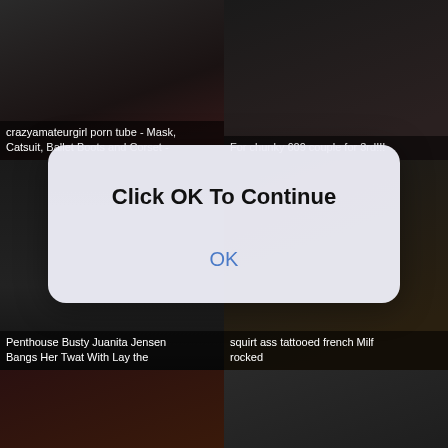[Figure (screenshot): Grid of 6 video thumbnails with dark backgrounds. Top-left thumbnail labeled 'crazyamateurgirl porn tube - Mask, Catsuit, Ballet Boots and Corset -'. Top-right labeled 'For chunky 609 couple for 3rd!!!'. Middle-left labeled 'Penthouse Busty Juanita Jensen Bangs Her Twat With Lay the'. Middle-right labeled '...squirt ass tattooed french Milf ...rocked'. Bottom-left and bottom-right have no visible labels. A modal dialog overlays the center with bold text 'Click OK To Continue' and a blue 'OK' button.]
crazyamateurgirl porn tube - Mask, Catsuit, Ballet Boots and Corset -
For chunky 609 couple for 3rd!!!
Penthouse Busty Juanita Jensen Bangs Her Twat With Lay the
squirt ass tattooed french Milf rocked
Click OK To Continue
OK